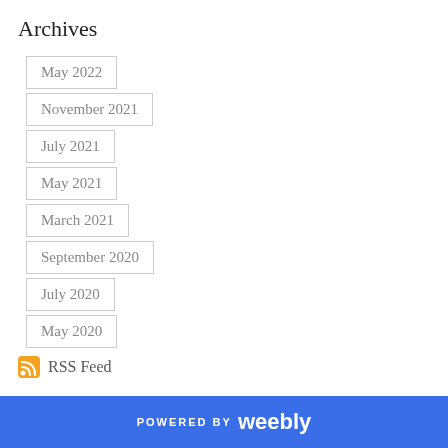Archives
May 2022
November 2021
July 2021
May 2021
March 2021
September 2020
July 2020
May 2020
RSS Feed
POWERED BY weebly